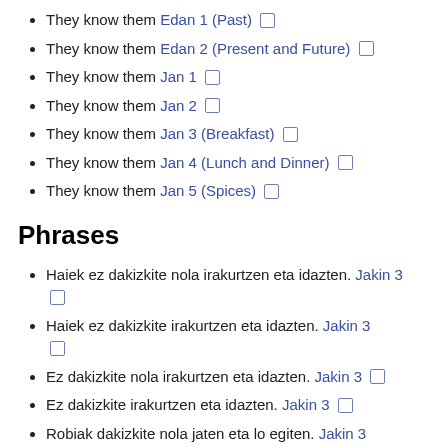They know them Edan 1 (Past) 🔲
They know them Edan 2 (Present and Future) 🔲
They know them Jan 1 🔲
They know them Jan 2 🔲
They know them Jan 3 (Breakfast) 🔲
They know them Jan 4 (Lunch and Dinner) 🔲
They know them Jan 5 (Spices) 🔲
Phrases
Haiek ez dakizkite nola irakurtzen eta idazten. Jakin 3 🔲
Haiek ez dakizkite irakurtzen eta idazten. Jakin 3 🔲
Ez dakizkite nola irakurtzen eta idazten. Jakin 3 🔲
Ez dakizkite irakurtzen eta idazten. Jakin 3 🔲
Robiak dakizkite nola jaten eta lo egiten. Jakin 3